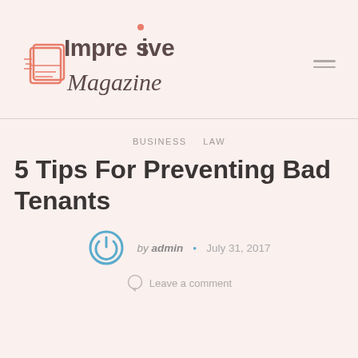Impresive Magazine
BUSINESS   LAW
5 Tips For Preventing Bad Tenants
by admin • July 31, 2017
Leave a comment